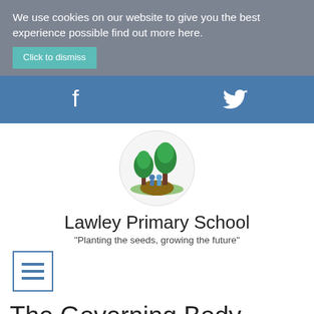We use cookies on our website to give you the best experience possible find out more here.
Click to dismiss
[Figure (logo): Facebook and Twitter social media icon links on a blue bar]
[Figure (logo): Lawley Primary School circular logo showing trees and children]
Lawley Primary School
"Planting the seeds, growing the future"
[Figure (other): Hamburger menu icon with three horizontal lines inside a square border]
The Governing Body